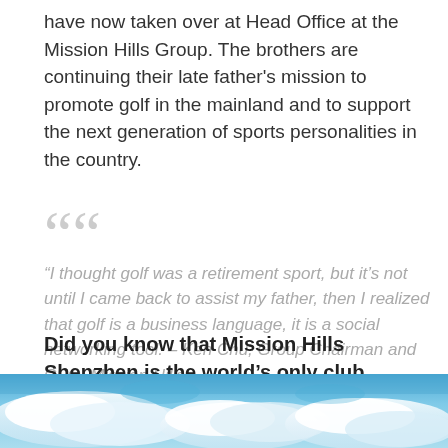have now taken over at Head Office at the Mission Hills Group. The brothers are continuing their late father's mission to promote golf in the mainland and to support the next generation of sports personalities in the country.
“I thought golf was a retirement sport, but it’s not until I came back to assist my father, then I realized that golf is a business language, it is a social networking tool. – Ken Chu, Group Chairman and CEO, Mission Hills.
Did you know that Mission Hills Shenzhen is the world’s only club featuring designers from five continents?
[Figure (photo): Partial sky and clouds photograph at the bottom of the page]